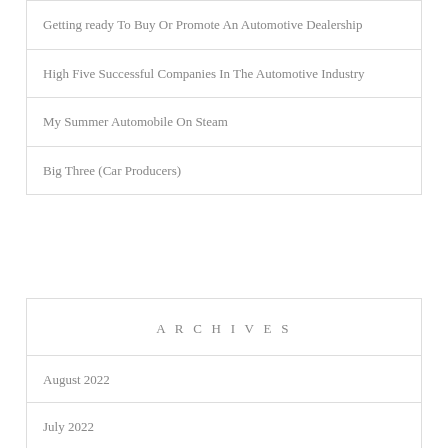Getting ready To Buy Or Promote An Automotive Dealership
High Five Successful Companies In The Automotive Industry
My Summer Automobile On Steam
Big Three (Car Producers)
ARCHIVES
August 2022
July 2022